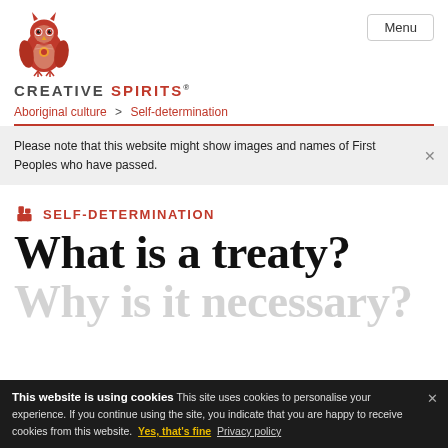CREATIVE SPIRITS® — Menu
Aboriginal culture > Self-determination
Please note that this website might show images and names of First Peoples who have passed.
SELF-DETERMINATION
What is a treaty? Why is it necessary?
This website is using cookies This site uses cookies to personalise your experience. If you continue using the site, you indicate that you are happy to receive cookies from this website. Yes, that's fine  Privacy policy